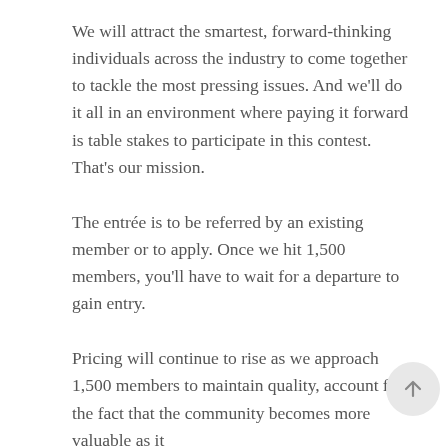We will attract the smartest, forward-thinking individuals across the industry to come together to tackle the most pressing issues. And we'll do it all in an environment where paying it forward is table stakes to participate in this contest. That's our mission.
The entrée is to be referred by an existing member or to apply. Once we hit 1,500 members, you'll have to wait for a departure to gain entry.
Pricing will continue to rise as we approach 1,500 members to maintain quality, account for the fact that the community becomes more valuable as it